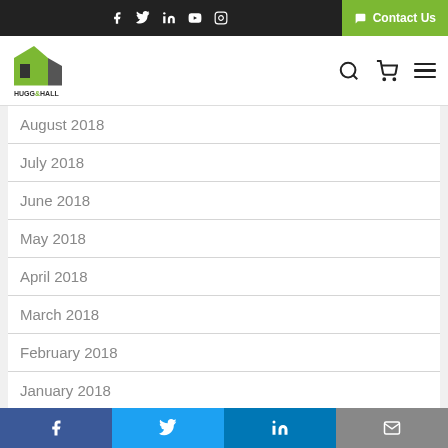Hugg & Hall website header with social icons (f, twitter, in, youtube, instagram) and Contact Us button
[Figure (logo): Hugg & Hall logo - building silhouette in green and grey with company name below]
August 2018
July 2018
June 2018
May 2018
April 2018
March 2018
February 2018
January 2018
December 2017
November 2017
October 2017
Social share buttons: Facebook, Twitter, LinkedIn, Email